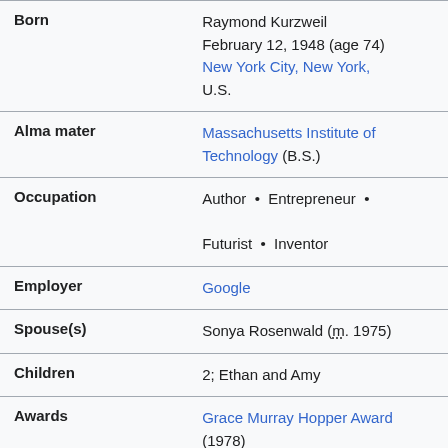| Field | Value |
| --- | --- |
| Born | Raymond Kurzweil
February 12, 1948 (age 74)
New York City, New York, U.S. |
| Alma mater | Massachusetts Institute of Technology (B.S.) |
| Occupation | Author • Entrepreneur • Futurist • Inventor |
| Employer | Google |
| Spouse(s) | Sonya Rosenwald (m. 1975) |
| Children | 2; Ethan and Amy |
| Awards | Grace Murray Hopper Award (1978)
National Medal of ... |